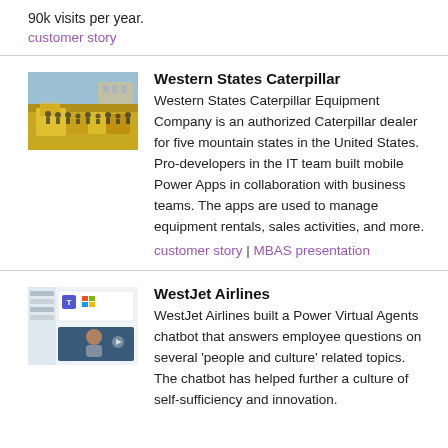90k visits per year.
customer story
Western States Caterpillar
[Figure (photo): Photo of Western States Caterpillar Equipment — yellow heavy equipment and a group of people outdoors]
Western States Caterpillar Equipment Company is an authorized Caterpillar dealer for five mountain states in the United States. Pro-developers in the IT team built mobile Power Apps in collaboration with business teams. The apps are used to manage equipment rentals, sales activities, and more.
customer story | MBAS presentation
WestJet Airlines
[Figure (screenshot): Screenshot of WestJet Airlines chatbot interface with Microsoft Teams and a video thumbnail]
WestJet Airlines built a Power Virtual Agents chatbot that answers employee questions on several 'people and culture' related topics. The chatbot has helped further a culture of self-sufficiency and innovation.